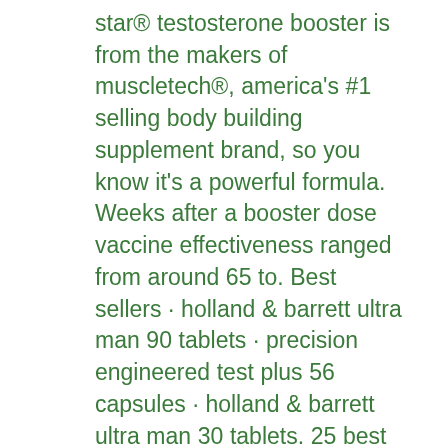star® testosterone booster is from the makers of muscletech®, america's #1 selling body building supplement brand, so you know it's a powerful formula. Weeks after a booster dose vaccine effectiveness ranged from around 65 to. Best sellers · holland &amp; barrett ultra man 90 tablets · precision engineered test plus 56 capsules · holland &amp; barrett ultra man 30 tablets. 25 best testosterone boosters in 2021: natural testosterone boosting supplements and pills - farrinstitute. April 23, 2021 04:18 et | source: farr institute. Testosterone is the primary male sex steroid hormone produced in the testes. It is responsible, among others, for the growth of muscles in men and other. Testoprime · testogen · crazybulk testo-max · hunter test · testofuel · prime male · test boost · testrx. 100% organic testosterone booster approved in uk. Tribulus terrestris (100% herbal extract) our product contains the most superior herbal testosterone f...